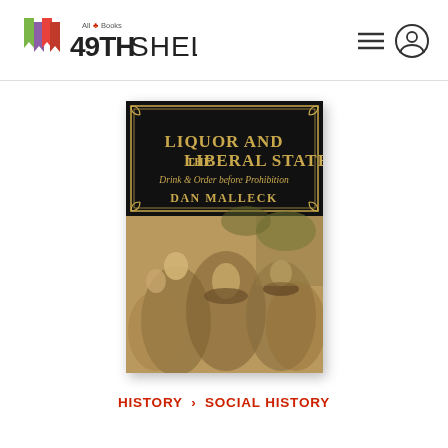[Figure (logo): 49th Shelf logo with colorful bookmark icons and 'All Books' maple leaf tagline]
[Figure (photo): Book cover of 'Liquor and the Liberal State: Drink & Order before Prohibition' by Dan Malleck. Black upper half with gold ornate border and title text, lower half sepia photo of people drinking outdoors.]
HISTORY › SOCIAL HISTORY